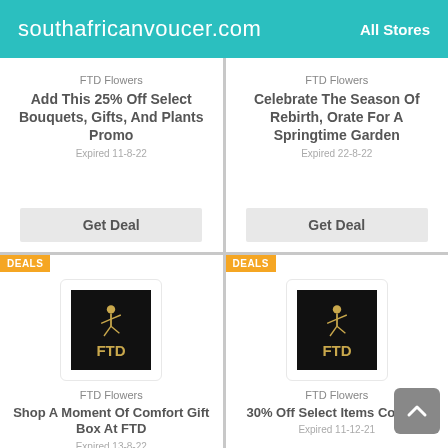southafricanvoucer.com   All Stores
FTD Flowers
Add This 25% Off Select Bouquets, Gifts, And Plants Promo
Expired 11-8-22
Get Deal
FTD Flowers
Celebrate The Season Of Rebirth, Orate For A Springtime Garden
Expired 22-8-22
Get Deal
[Figure (logo): FTD Flowers logo - black square with gold Mercury/runner figure and FTD text]
FTD Flowers
Shop A Moment Of Comfort Gift Box At FTD
Expired 13-8-22
[Figure (logo): FTD Flowers logo - black square with gold Mercury/runner figure and FTD text]
FTD Flowers
30% Off Select Items Coupon
Expired 11-12-21